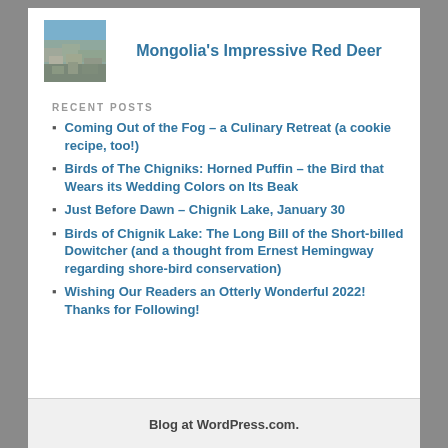[Figure (photo): Small thumbnail photo of a rocky stone wall or rocky landscape in blue-grey tones]
Mongolia's Impressive Red Deer
RECENT POSTS
Coming Out of the Fog – a Culinary Retreat (a cookie recipe, too!)
Birds of The Chigniks: Horned Puffin – the Bird that Wears its Wedding Colors on Its Beak
Just Before Dawn – Chignik Lake, January 30
Birds of Chignik Lake: The Long Bill of the Short-billed Dowitcher (and a thought from Ernest Hemingway regarding shore-bird conservation)
Wishing Our Readers an Otterly Wonderful 2022! Thanks for Following!
Blog at WordPress.com.